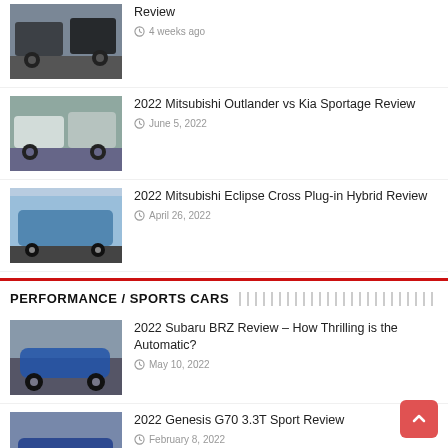Review — 4 weeks ago
2022 Mitsubishi Outlander vs Kia Sportage Review — June 5, 2022
2022 Mitsubishi Eclipse Cross Plug-in Hybrid Review — April 26, 2022
PERFORMANCE / SPORTS CARS
2022 Subaru BRZ Review – How Thrilling is the Automatic? — May 10, 2022
2022 Genesis G70 3.3T Sport Review — February 8, 2022
2022 Toyota GR Supra vs Ford Mustang GT